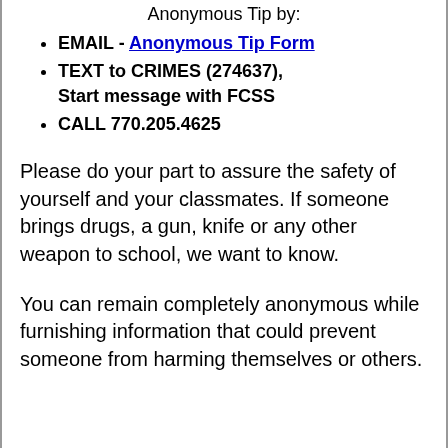Anonymous Tip by:
EMAIL - Anonymous Tip Form
TEXT to CRIMES (274637), Start message with FCSS
CALL 770.205.4625
Please do your part to assure the safety of yourself and your classmates. If someone brings drugs, a gun, knife or any other weapon to school, we want to know.
You can remain completely anonymous while furnishing information that could prevent someone from harming themselves or others.